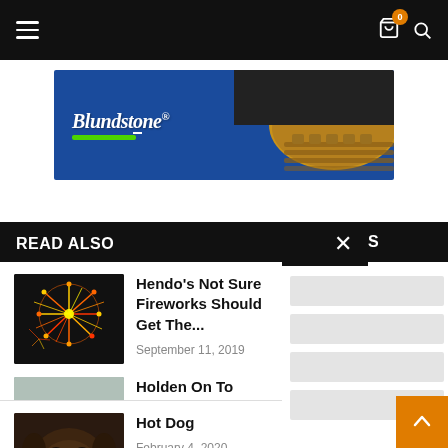Navigation bar with hamburger menu, cart icon (badge: 0), and search icon
[Figure (photo): Blundstone advertisement banner showing boot sole and brand logo on blue background]
READ ALSO
O ENEWS
Hendo's Not Sure Fireworks Should Get The...
September 11, 2019
Holden On To Memories
August 3, 2020
Hot Dog
February 4, 2020